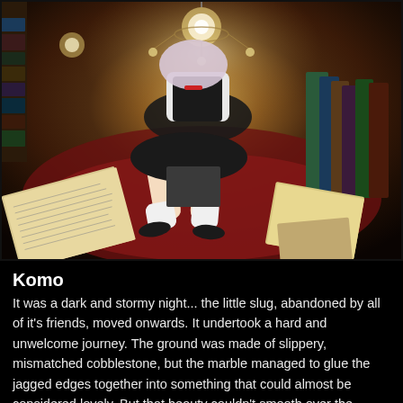[Figure (illustration): Anime-style illustration of a girl in a black dress with white blouse and lace socks, surrounded by scattered open books on a red carpeted floor. A chandelier with lights hangs above. The scene depicts a library or study room with shelves of books visible in the background.]
Komo
It was a dark and stormy night... the little slug, abandoned by all of it's friends, moved onwards. It undertook a hard and unwelcome journey. The ground was made of slippery, mismatched cobblestone, but the marble managed to glue the jagged edges together into something that could almost be considered lovely. But that beauty couldn't smooth over the reality: jagged pebbles dusted the walkway, and